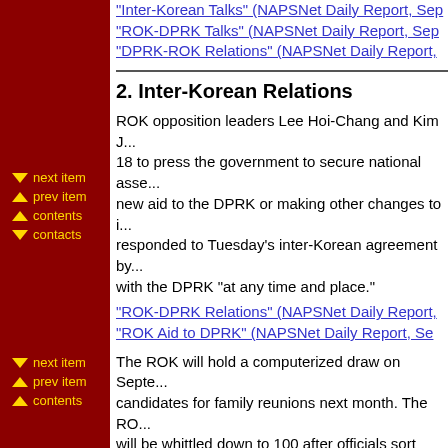"Inter-Korean Talks" (NAPSNet Daily Report, Sep...
"ROK-DPRK Talks" (NAPSNet Daily Report, Sep...
"DPRK-ROK Relations" (NAPSNet Daily Report,...
2. Inter-Korean Relations
ROK opposition leaders Lee Hoi-Chang and Kim J... 18 to press the government to secure national asse... new aid to the DPRK or making other changes to i... responded to Tuesday's inter-Korean agreement by... with the DPRK "at any time and place."
"ROK-DPRK Relations" (NAPSNet Daily Report,...
"ROK Aid to DPRK" (NAPSNet Daily Report, Se...
The ROK will hold a computerized draw on Septe... candidates for family reunions next month. The RO... will be whittled down to 100 after officials sort ou... died or cannot be found in the DPRK.
"Reunion of Separated Families" (NAPSNet Daily...
"Family Reunion" (NAPSNet Daily Report, Septer...
3. Analysis of Inter-Korean Relations
Analysts said the inter-Korean agreement announ...